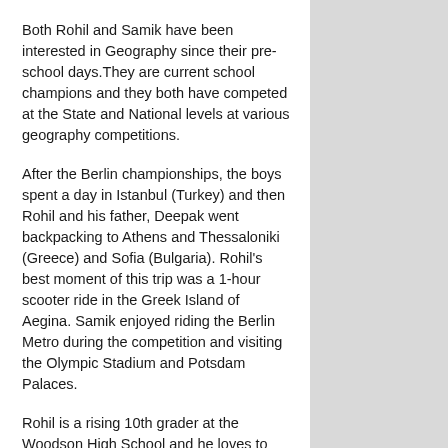Both Rohil and Samik have been interested in Geography since their pre-school days.They are current school champions and they both have competed at the State and National levels at various geography competitions.
After the Berlin championships, the boys spent a day in Istanbul (Turkey) and then Rohil and his father, Deepak went backpacking to Athens and Thessaloniki (Greece) and Sofia (Bulgaria). Rohil's best moment of this trip was a 1-hour scooter ride in the Greek Island of Aegina. Samik enjoyed riding the Berlin Metro during the competition and visiting the Olympic Stadium and Potsdam Palaces.
Rohil is a rising 10th grader at the Woodson High School and he loves to travel all over the world. He has visited 38 US States and 16 countries. As a freshman, Rohil competed in the “It’s Academic” competition on NBC and helped his high school team win the first-round playoff.